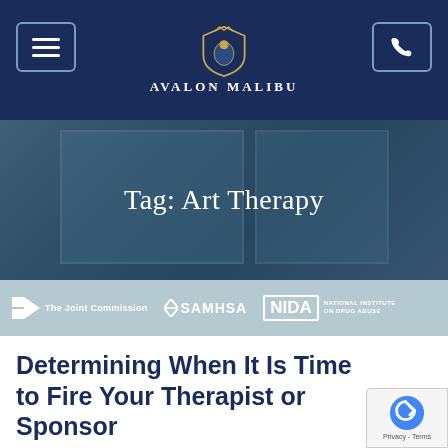Avalon Malibu
[Figure (screenshot): Hero banner with blurred indoor/outdoor background photo and text 'Tag: Art Therapy']
[Figure (logo): Accreditation bar with logos: The Joint Commission, SAMHSA, NIDA National Institute on Drug Abuse]
Determining When It Is Time to Fire Your Therapist or Sponsor
July 20, 2021   Avalon Malibu Staff